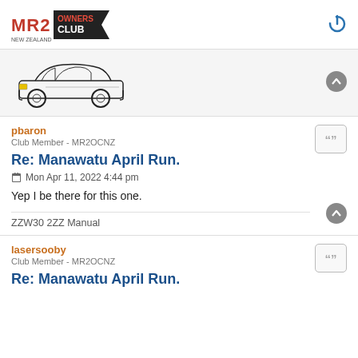MR2 Owners Club New Zealand
[Figure (illustration): Line drawing illustration of a Toyota MR2 car from side/front angle]
pbaron
Club Member - MR2OCNZ
Re: Manawatu April Run.
Mon Apr 11, 2022 4:44 pm
Yep I be there for this one.
ZZW30 2ZZ Manual
lasersooby
Club Member - MR2OCNZ
Re: Manawatu April Run.